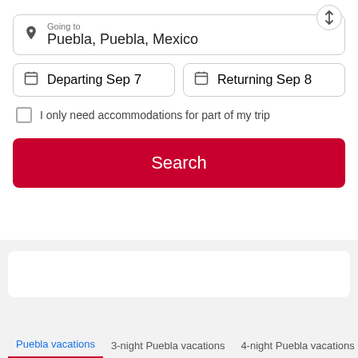Going to
Puebla, Puebla, Mexico
Departing
Sep 7
Returning
Sep 8
I only need accommodations for part of my trip
Search
Puebla vacations
3-night Puebla vacations
4-night Puebla vacations